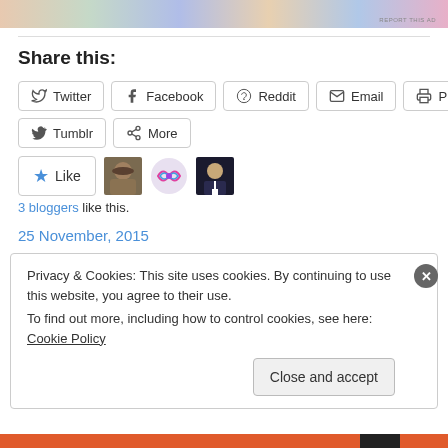[Figure (illustration): Colorful banner/ad image at the top of the page]
Share this:
Twitter
Facebook
Reddit
Email
Print
Tumblr
More
[Figure (illustration): Like button with star icon and 3 blogger avatar thumbnails]
3 bloggers like this.
25 November, 2015
Privacy & Cookies: This site uses cookies. By continuing to use this website, you agree to their use. To find out more, including how to control cookies, see here: Cookie Policy
Close and accept